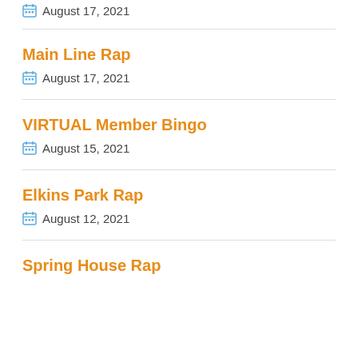August 17, 2021
Main Line Rap — August 17, 2021
VIRTUAL Member Bingo — August 15, 2021
Elkins Park Rap — August 12, 2021
Spring House Rap